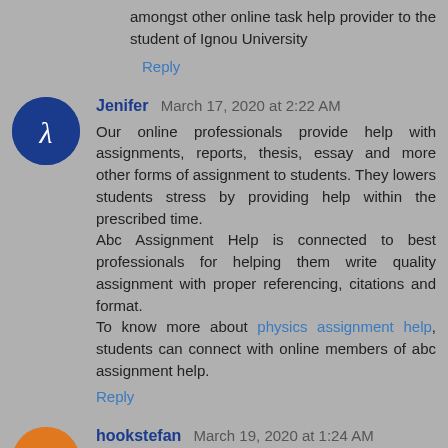amongst other online task help provider to the student of Ignou University
Reply
Jenifer  March 17, 2020 at 2:22 AM
Our online professionals provide help with assignments, reports, thesis, essay and more other forms of assignment to students. They lowers students stress by providing help within the prescribed time.
Abc Assignment Help is connected to best professionals for helping them write quality assignment with proper referencing, citations and format.
To know more about physics assignment help, students can connect with online members of abc assignment help.
Reply
hookstefan  March 19, 2020 at 1:24 AM
We give an altered Assignment Help organization. During higher examinations in schools, understudies every now